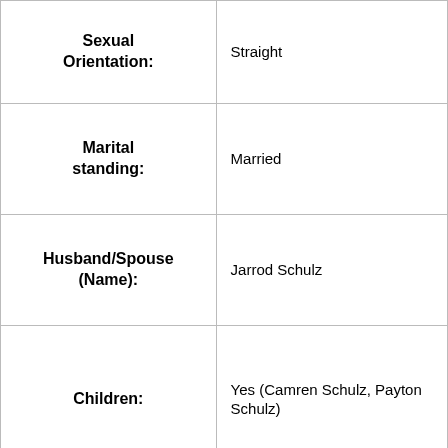| Sexual Orientation: | Straight |
| Marital standing: | Married |
| Husband/Spouse (Name): | Jarrod Schulz |
| Children: | Yes (Camren Schulz, Payton Schulz) |
| Dating/Boyfriend (Name): | N/A |
| Profession: | TV |